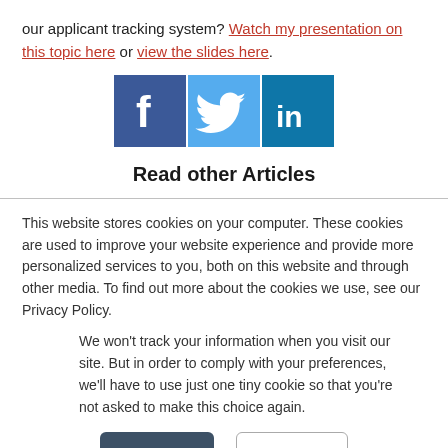our applicant tracking system? Watch my presentation on this topic here or view the slides here.
[Figure (illustration): Social media icons: Facebook (dark blue), Twitter (light blue), LinkedIn (dark teal/blue)]
Read other Articles
This website stores cookies on your computer. These cookies are used to improve your website experience and provide more personalized services to you, both on this website and through other media. To find out more about the cookies we use, see our Privacy Policy.
We won't track your information when you visit our site. But in order to comply with your preferences, we'll have to use just one tiny cookie so that you're not asked to make this choice again.
Accept | Decline